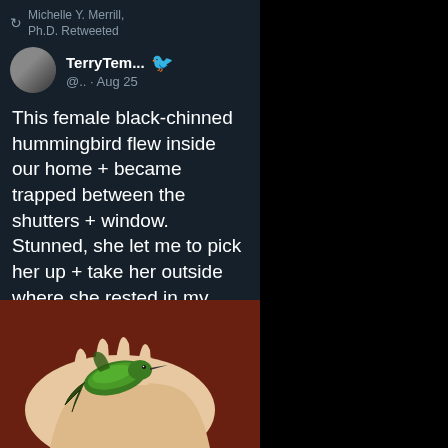Michelle Y. Merrill, Ph.D. Retweeted
TerryTem... @.. · Aug 25
This female black-chinned hummingbird flew inside our home + became trapped between the shutters + window. Stunned, she let me to pick her up + take her outside where she rested in my hand. In time, her eyes slowly brightened. I could feel her heart quicken — and  then, she flew.
[Figure (photo): A small green hummingbird resting in an open human hand, photographed from above. The bird appears to be a female black-chinned hummingbird with iridescent green feathers. The hand is pale/light-skinned, and there is a reddish/dark background.]